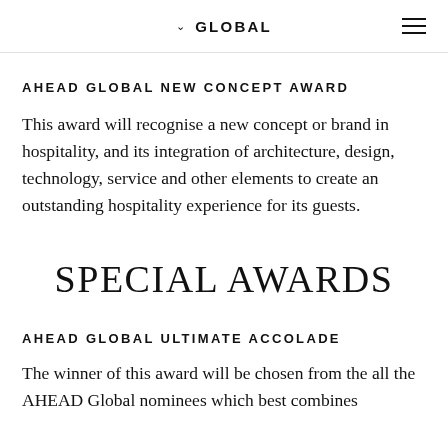∨  GLOBAL
AHEAD GLOBAL NEW CONCEPT AWARD
This award will recognise a new concept or brand in hospitality, and its integration of architecture, design, technology, service and other elements to create an outstanding hospitality experience for its guests.
SPECIAL AWARDS
AHEAD GLOBAL ULTIMATE ACCOLADE
The winner of this award will be chosen from the all the AHEAD Global nominees which best combines